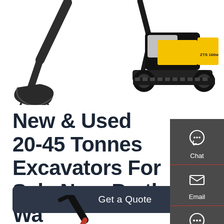[Figure (photo): Excavator bucket/arm close-up, top left]
[Figure (photo): Full yellow and black tracked excavator, top right]
New & Used 20-45 Tonnes Excavators For Sale Near Perth Wa
New & Used Excavators For Sale near Perth Wa
Get a Quote
[Figure (infographic): Right sidebar with Chat, Email, and Contact icons on dark grey background]
[Figure (photo): Partial excavator image at bottom of page]